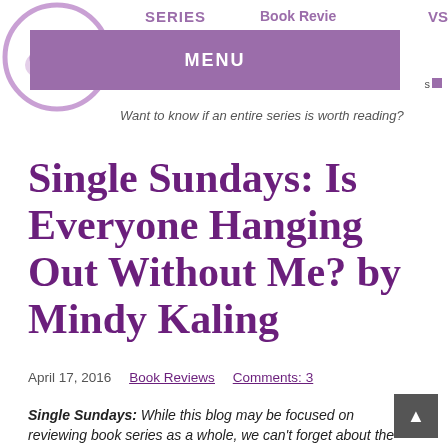MENU | SERIES | Book Reviews | Want to know if an entire series is worth reading?
Single Sundays: Is Everyone Hanging Out Without Me? by Mindy Kaling
April 17, 2016 · Book Reviews · Comments: 3
Single Sundays: While this blog may be focused on reviewing book series as a whole, we can't forget about the good ole' standalone novel! On Sundays, I will